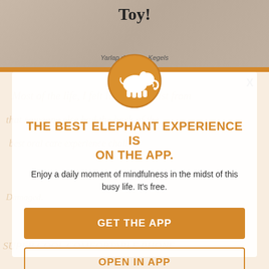[Figure (screenshot): Mobile app promotional overlay screenshot showing an elephant icon, headline, description text, and two CTA buttons over a blurred background]
THE BEST ELEPHANT EXPERIENCE IS ON THE APP.
Enjoy a daily moment of mindfulness in the midst of this busy life. It's free.
GET THE APP
OPEN IN APP